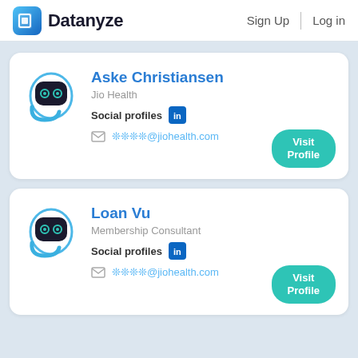Datanyze | Sign Up | Log in
Aske Christiansen
Jio Health
Social profiles [LinkedIn]
✉ ❊❊❊❊@jiohealth.com
Visit Profile
Loan Vu
Membership Consultant
Social profiles [LinkedIn]
✉ ❊❊❊❊@jiohealth.com
Visit Profile